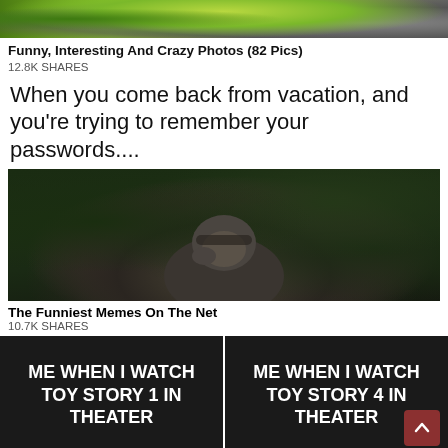[Figure (photo): Top portion of a lizard/chameleon photo with green and grey coloring]
Funny, Interesting And Crazy Photos (82 Pics)
12.8K SHARES
When you come back from vacation, and you’re trying to remember your passwords....
[Figure (photo): A gorilla sitting in jungle greenery, appearing to be in a thinking pose with hand near face]
The Funniest Memes On The Net
10.7K SHARES
[Figure (photo): Two-panel meme with black background: left panel says 'ME WHEN I WATCH TOY STORY 1 IN THEATER', right panel says 'ME WHEN I WATCH TOY STORY 4 IN THEATER']